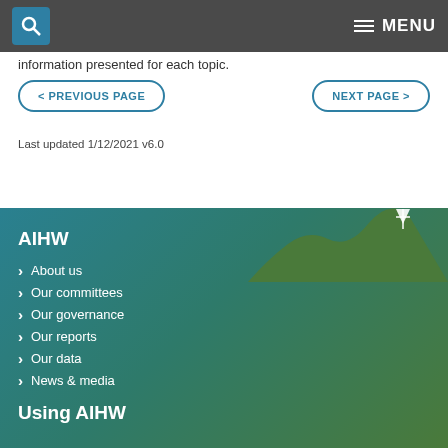MENU
information presented for each topic.
< PREVIOUS PAGE    NEXT PAGE >
Last updated 1/12/2021 v6.0
AIHW
About us
Our committees
Our governance
Our reports
Our data
News & media
Using AIHW